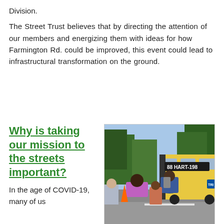Division.
The Street Trust believes that by directing the attention of our members and energizing them with ideas for how Farmington Rd. could be improved, this event could lead to infrastructural transformation on the ground.
Why is taking our mission to the streets important?
[Figure (photo): People standing outside near a bus labeled '88 HART-198', viewed from behind on a sunny day with trees in the background.]
In the age of COVID-19, many of us